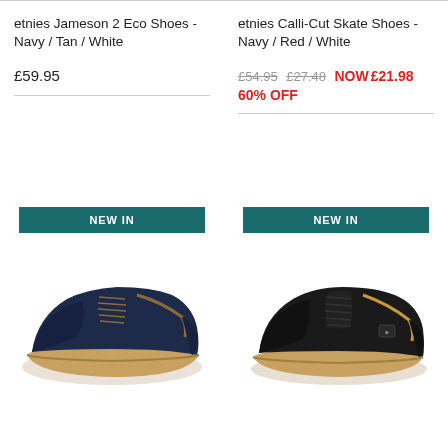etnies Jameson 2 Eco Shoes - Navy / Tan / White
£59.95
etnies Calli-Cut Skate Shoes - Navy / Red / White
£54.95 £27.48 NOW £21.98 60% OFF
[Figure (photo): Navy blue etnies Jameson 2 Eco skate shoe with tan/brown laces and gum sole, shown from side-angle view]
[Figure (photo): Black etnies Calli-Cut skate shoe with black laces and gum sole, shown from side-angle view]